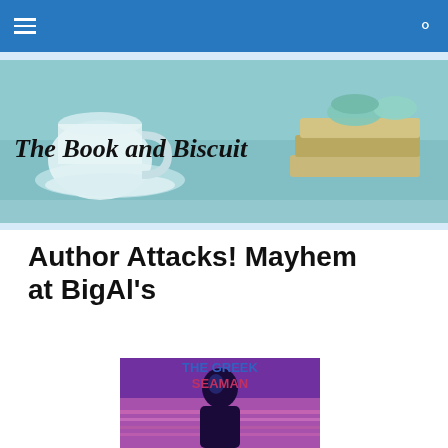Navigation bar with hamburger menu and search icon
[Figure (illustration): The Book and Biscuit blog banner showing a teacup, stacked books with macarons on top, with the text 'The Book and Biscuit' and subtitle 'A life with books, tea and biscuits']
Author Attacks! Mayhem at BigAl's
[Figure (illustration): Book cover of 'The Greek Seaman' showing a dark silhouette of a woman against a purple/pink water background]